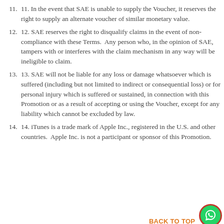11. In the event that SAE is unable to supply the Voucher, it reserves the right to supply an alternate voucher of similar monetary value.
12. SAE reserves the right to disqualify claims in the event of non-compliance with these Terms.  Any person who, in the opinion of SAE, tampers with or interferes with the claim mechanism in any way will be ineligible to claim.
13. SAE will not be liable for any loss or damage whatsoever which is suffered (including but not limited to indirect or consequential loss) or for personal injury which is suffered or sustained, in connection with this Promotion or as a result of accepting or using the Voucher, except for any liability which cannot be excluded by law.
14. iTunes is a trade mark of Apple Inc., registered in the U.S. and other countries.  Apple Inc. is not a participant or sponsor of this Promotion.
BACK TO TOP